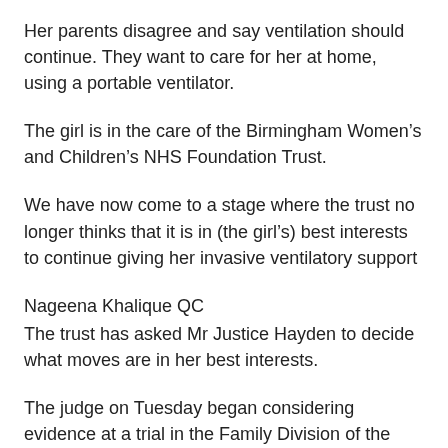Her parents disagree and say ventilation should continue. They want to care for her at home, using a portable ventilator.
The girl is in the care of the Birmingham Women's and Children's NHS Foundation Trust.
We have now come to a stage where the trust no longer thinks that it is in (the girl's) best interests to continue giving her invasive ventilatory support
Nageena Khalique QC
The trust has asked Mr Justice Hayden to decide what moves are in her best interests.
The judge on Tuesday began considering evidence at a trial in the Family Division of the High Court in London.
He ruled that nothing could be reported which would identify